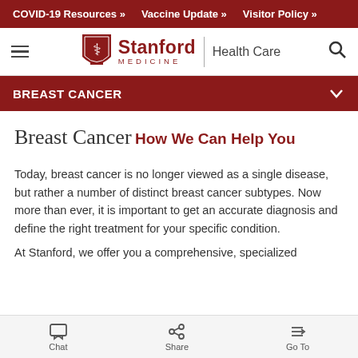COVID-19 Resources »  Vaccine Update »  Visitor Policy »
[Figure (logo): Stanford Medicine | Health Care logo with hamburger menu and search icon]
BREAST CANCER
Breast Cancer
How We Can Help You
Today, breast cancer is no longer viewed as a single disease, but rather a number of distinct breast cancer subtypes. Now more than ever, it is important to get an accurate diagnosis and define the right treatment for your specific condition.
Chat  Share  Go To